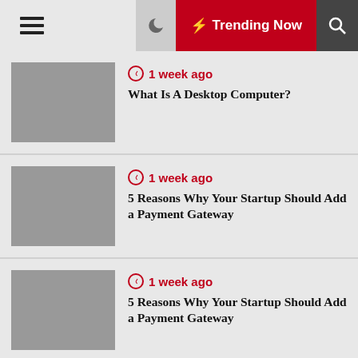≡ Trending Now 🔍
1 week ago — What Is A Desktop Computer?
1 week ago — 5 Reasons Why Your Startup Should Add a Payment Gateway
1 week ago — 5 Reasons Why Your Startup Should Add a Payment Gateway
2 weeks ago — ShareAlike three.0 Unported — CC BY